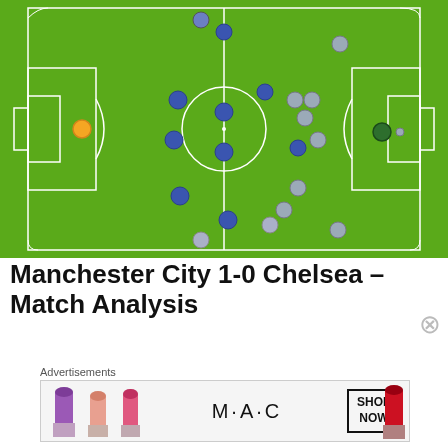[Figure (other): Football/soccer pitch diagram showing player positions for Manchester City vs Chelsea. Blue dots represent one team, grey dots the other, one orange dot (goalkeeper), one dark green dot. Players are arranged across the pitch showing tactical positions.]
Manchester City 1-0 Chelsea – Match Analysis
Advertisements
[Figure (photo): MAC cosmetics advertisement banner showing lipsticks in purple, pink, and red, with MAC logo and SHOP NOW box.]